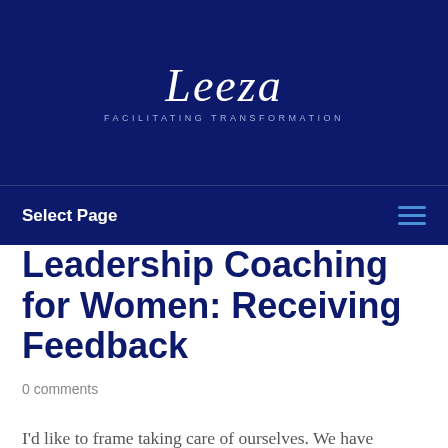[Figure (logo): Leeza logo with script text and subtitle 'Facilitating Transformation' on dark navy background]
Select Page
Leadership Coaching for Women: Receiving Feedback
0 comments
I'd like to frame taking care of ourselves. We have learned that self-focus is something negative, something selfish in the manner of, to